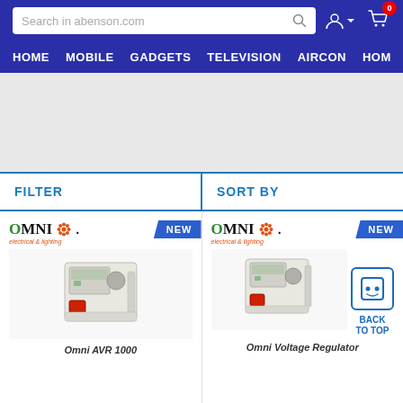Search in abenson.com
HOME  MOBILE  GADGETS  TELEVISION  AIRCON  HOM
FILTER
SORT BY
[Figure (screenshot): Omni AVR 1000 product card with NEW badge and product image of a voltage regulator unit]
[Figure (screenshot): Omni Voltage Regulator product card with NEW badge and product image, with Back to Top button overlay]
Omni AVR 1000
Omni Voltage Regulator